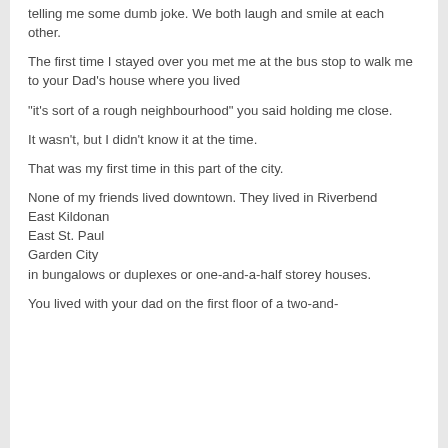telling me some dumb joke. We both laugh and smile at each other.
The first time I stayed over you met me at the bus stop to walk me to your Dad's house where you lived
"it's sort of a rough neighbourhood" you said holding me close.
It wasn't, but I didn't know it at the time.
That was my first time in this part of the city.
None of my friends lived downtown. They lived in Riverbend
East Kildonan
East St. Paul
Garden City
in bungalows or duplexes or one-and-a-half storey houses.
You lived with your dad on the first floor of a two-and-